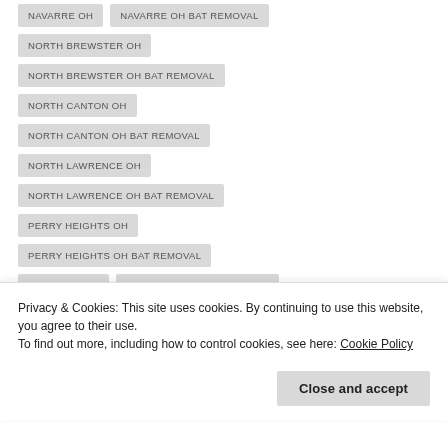NAVARRE OH
NAVARRE OH BAT REMOVAL
NORTH BREWSTER OH
NORTH BREWSTER OH BAT REMOVAL
NORTH CANTON OH
NORTH CANTON OH BAT REMOVAL
NORTH LAWRENCE OH
NORTH LAWRENCE OH BAT REMOVAL
PERRY HEIGHTS OH
PERRY HEIGHTS OH BAT REMOVAL
RICHVILLE OH
RICHVILLE OH BAT REMOVAL
Privacy & Cookies: This site uses cookies. By continuing to use this website, you agree to their use.
To find out more, including how to control cookies, see here: Cookie Policy
Close and accept